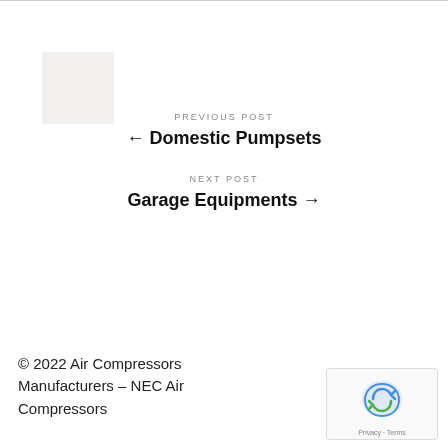[Figure (photo): Small placeholder image thumbnail, light beige/gray square]
PREVIOUS POST
← Domestic Pumpsets
NEXT POST
Garage Equipments →
© 2022 Air Compressors Manufacturers – NEC Air Compressors
[Figure (logo): reCAPTCHA badge with Google reCAPTCHA logo and Privacy - Terms text]